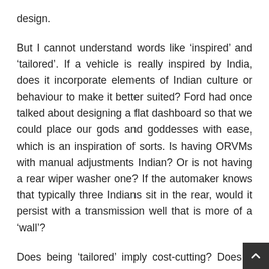design.
But I cannot understand words like ‘inspired’ and ‘tailored’. If a vehicle is really inspired by India, does it incorporate elements of Indian culture or behaviour to make it better suited? Ford had once talked about designing a flat dashboard so that we could place our gods and goddesses with ease, which is an inspiration of sorts. Is having ORVMs with manual adjustments Indian? Or is not having a rear wiper washer one? If the automaker knows that typically three Indians sit in the rear, would it persist with a transmission well that is more of a ‘wall’?
Does being ‘tailored’ imply cost-cutting? Does it mean the automaker cuts and snips out the really good bits of safety and interior quality to make the vehicle